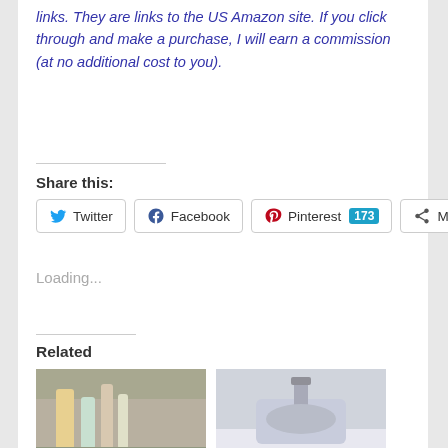links. They are links to the US Amazon site. If you click through and make a purchase, I will earn a commission (at no additional cost to you).
Share this:
Twitter Facebook Pinterest 173 More
Loading...
Related
[Figure (photo): Bathroom scene with cleaning products/bottles on a shelf or rack]
[Figure (photo): Bathroom sink with faucet and white surface]